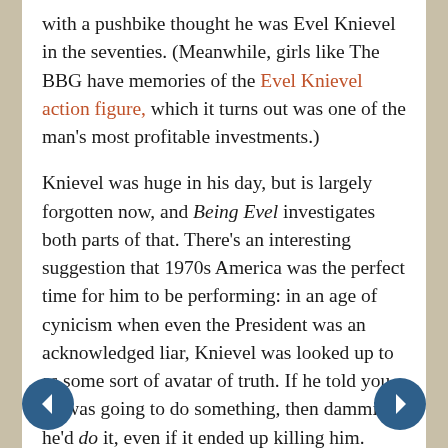with a pushbike thought he was Evel Knievel in the seventies. (Meanwhile, girls like The BBG have memories of the Evel Knievel action figure, which it turns out was one of the man's most profitable investments.)

Knievel was huge in his day, but is largely forgotten now, and Being Evel investigates both parts of that. There's an interesting suggestion that 1970s America was the perfect time for him to be performing: in an age of cynicism when even the President was an acknowledged liar, Knievel was looked up to as some sort of avatar of truth. If he told you he was going to do something, then dammit, he'd do it, even if it ended up killing him. Meanwhile, even though his name may be unfamiliar to youngsters nowadays, he was